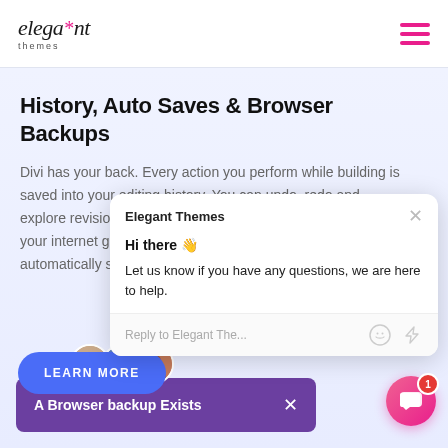elegant themes — navigation header with logo and hamburger menu
History, Auto Saves & Browser Backups
Divi has your back. Every action you perform while building is saved into your editing history. You can undo, redo and explore revisions with your internet going do automatically save yo
[Figure (screenshot): Chat popup overlay from Elegant Themes support widget showing greeting 'Hi there 👋' and message 'Let us know if you have any questions, we are here to help.' with reply input field and close button]
LEARN MORE
A Browser backup Exists